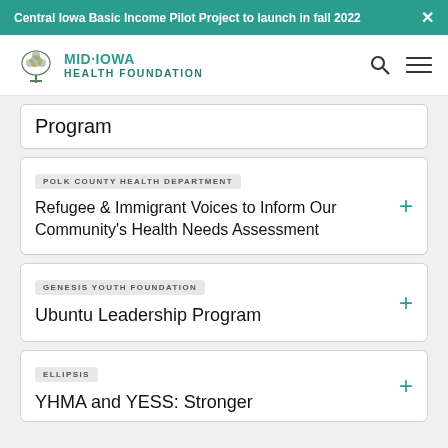Central Iowa Basic Income Pilot Project to launch in fall 2022
[Figure (logo): Mid-Iowa Health Foundation logo with tree illustration]
Program
POLK COUNTY HEALTH DEPARTMENT
Refugee & Immigrant Voices to Inform Our Community's Health Needs Assessment
GENESIS YOUTH FOUNDATION
Ubuntu Leadership Program
ELLIPSIS
YHMA and YESS: Stronger